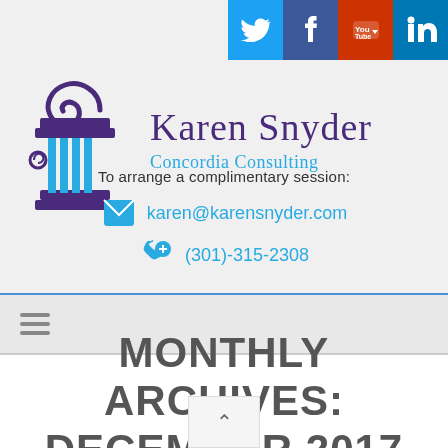[Figure (logo): Karen Snyder Concordia Consulting logo with decorative column and spiral graphic in blue and purple]
[Figure (infographic): Social media icons: Twitter (blue bird), Facebook (blue f), YouTube (red with play button), LinkedIn (blue in)]
To arrange a complimentary session:
karen@karensnyder.com
(301)-315-2308
[Figure (infographic): Hamburger menu icon (three horizontal lines)]
MONTHLY ARCHIVES: DECEMBER 2017